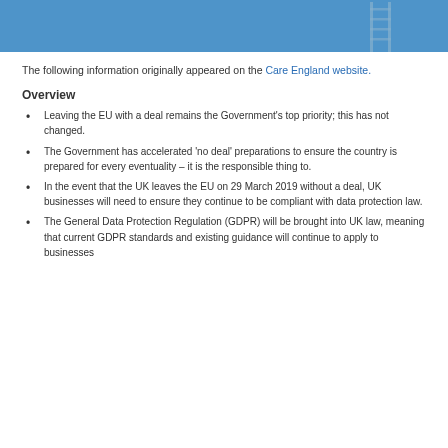[Figure (photo): Blue background photo with a ladder visible on the right side]
The following information originally appeared on the Care England website.
Overview
Leaving the EU with a deal remains the Government's top priority; this has not changed.
The Government has accelerated 'no deal' preparations to ensure the country is prepared for every eventuality – it is the responsible thing to.
In the event that the UK leaves the EU on 29 March 2019 without a deal, UK businesses will need to ensure they continue to be compliant with data protection law.
The General Data Protection Regulation (GDPR) will be brought into UK law, meaning that current GDPR standards and existing guidance will continue to apply to businesses